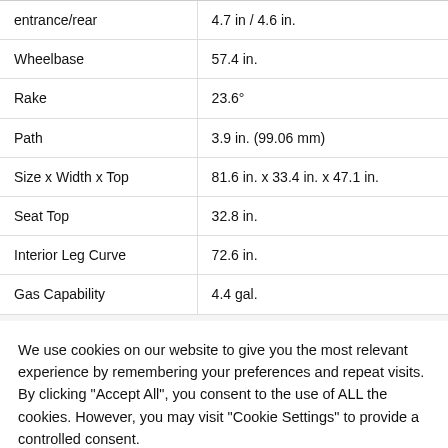| Feature | Value |
| --- | --- |
| entrance/rear | 4.7 in / 4.6 in. |
| Wheelbase | 57.4 in. |
| Rake | 23.6° |
| Path | 3.9 in. (99.06 mm) |
| Size x Width x Top | 81.6 in. x 33.4 in. x 47.1 in. |
| Seat Top | 32.8 in. |
| Interior Leg Curve | 72.6 in. |
| Gas Capability | 4.4 gal. |
We use cookies on our website to give you the most relevant experience by remembering your preferences and repeat visits. By clicking "Accept All", you consent to the use of ALL the cookies. However, you may visit "Cookie Settings" to provide a controlled consent.